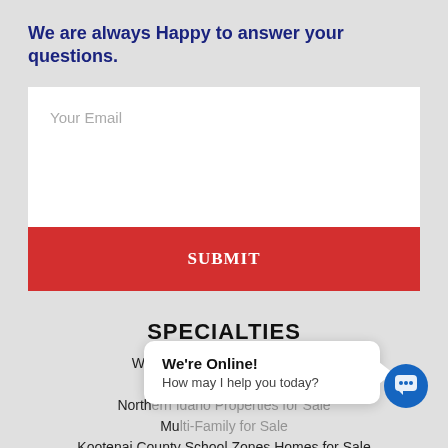We are always Happy to answer your questions.
[Figure (screenshot): Email input form field with placeholder 'Your Email' and a red SUBMIT button below]
SPECIALTIES
Waterfront Properties for Sale
horse properties for Sale
North...
Mu...
Kootenai County School Zones Homes for Sale
[Figure (screenshot): Chat popup with 'We're Online! How may I help you today?' and a blue chat icon button]